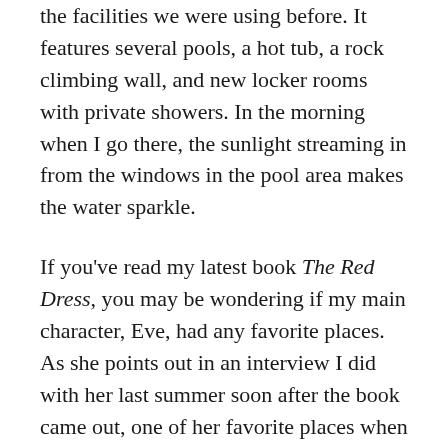the facilities we were using before. It features several pools, a hot tub, a rock climbing wall, and new locker rooms with private showers. In the morning when I go there, the sunlight streaming in from the windows in the pool area makes the water sparkle.
If you've read my latest book The Red Dress, you may be wondering if my main character, Eve, had any favorite places. As she points out in an interview I did with her last summer soon after the book came out, one of her favorite places when she was a child was her father's bookstore, where she loved to stretch out in an old bathtub filled with pillows. You can read the interview here. If you haven't read The Red Dress, and you're now curious, you'll find more